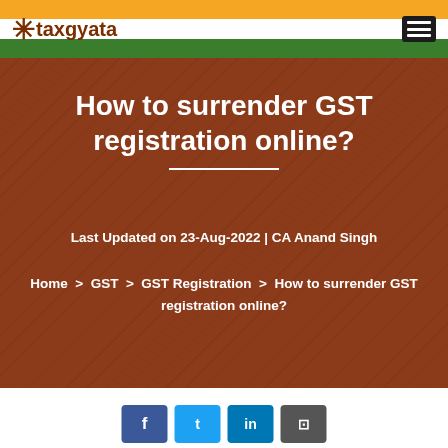taxgyata
How to surrender GST registration online?
Last Updated on 23-Aug-2022 | CA Anand Singh
Home > GST > GST Registration > How to surrender GST registration online?